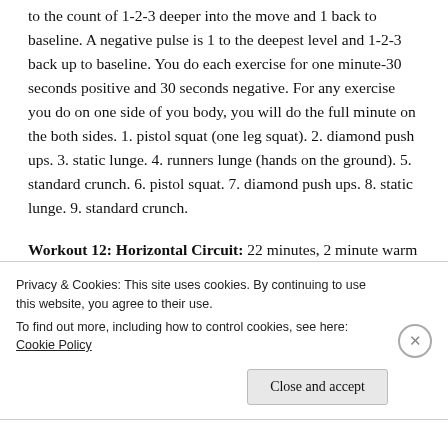to the count of 1-2-3 deeper into the move and 1 back to baseline. A negative pulse is 1 to the deepest level and 1-2-3 back up to baseline. You do each exercise for one minute-30 seconds positive and 30 seconds negative. For any exercise you do on one side of you body, you will do the full minute on the both sides. 1. pistol squat (one leg squat). 2. diamond push ups. 3. static lunge. 4. runners lunge (hands on the ground). 5. standard crunch. 6. pistol squat. 7. diamond push ups. 8. static lunge. 9. standard crunch.
Workout 12: Horizontal Circuit: 22 minutes, 2 minute warm up and 2 minute cool down/stretch.
Privacy & Cookies: This site uses cookies. By continuing to use this website, you agree to their use.
To find out more, including how to control cookies, see here: Cookie Policy